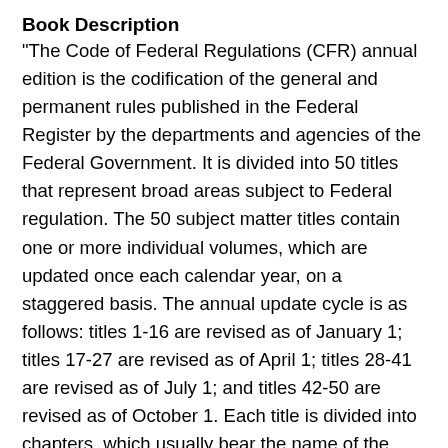Book Description
"The Code of Federal Regulations (CFR) annual edition is the codification of the general and permanent rules published in the Federal Register by the departments and agencies of the Federal Government. It is divided into 50 titles that represent broad areas subject to Federal regulation. The 50 subject matter titles contain one or more individual volumes, which are updated once each calendar year, on a staggered basis. The annual update cycle is as follows: titles 1-16 are revised as of January 1; titles 17-27 are revised as of April 1; titles 28-41 are revised as of July 1; and titles 42-50 are revised as of October 1. Each title is divided into chapters, which usually bear the name of the issuing agency. Each chapter is further subdivided into parts that cover specific regulatory areas. Large parts may be subdivided into subparts. All parts are organized in sections, and most citations to the CFR refer to material at the section level"--Web page.